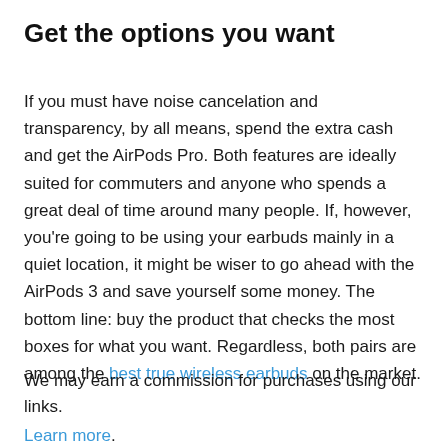Get the options you want
If you must have noise cancelation and transparency, by all means, spend the extra cash and get the AirPods Pro. Both features are ideally suited for commuters and anyone who spends a great deal of time around many people. If, however, you're going to be using your earbuds mainly in a quiet location, it might be wiser to go ahead with the AirPods 3 and save yourself some money. The bottom line: buy the product that checks the most boxes for what you want. Regardless, both pairs are among the best true wireless earbuds on the market.
We may earn a commission for purchases using our links. Learn more.